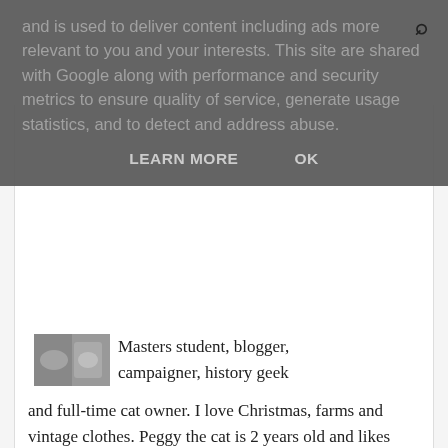are shared with Google along with performance and security metrics to ensure quality of service, generate usage statistics, and to detect and address abuse.
LEARN MORE   OK
Masters student, blogger, campaigner, history geek and full-time cat owner. I love Christmas, farms and vintage clothes. Peggy the cat is 2 years old and likes washing herself in the sink, watching the birds out of the window and sleeping in the sun. Pip the cat is 1 year old and likes pom poms, chasing toes and crunching his food loudly.
View my complete profile